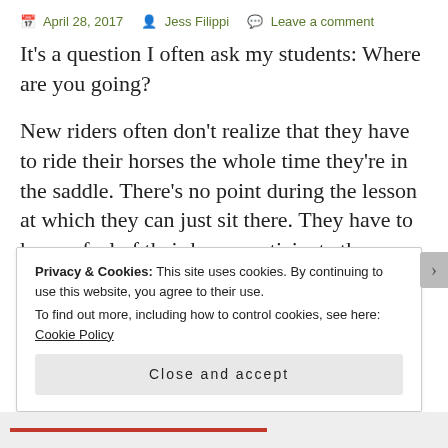April 28, 2017  Jess Filippi  Leave a comment
It's a question I often ask my students: Where are you going?
New riders often don't realize that they have to ride their horses the whole time they're in the saddle. There's no point during the lesson at which they can just sit there. They have to keep a feel of their horse, anticipate the horse's next moves, and always have in their mind where they want to go and what they want the horse to do. (This
Privacy & Cookies: This site uses cookies. By continuing to use this website, you agree to their use.
To find out more, including how to control cookies, see here: Cookie Policy

Close and accept